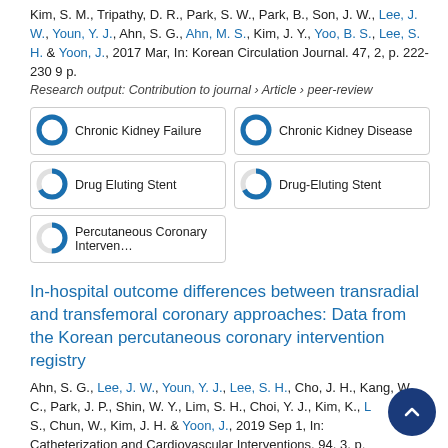Kim, S. M., Tripathy, D. R., Park, S. W., Park, B., Son, J. W., Lee, J. W., Youn, Y. J., Ahn, S. G., Ahn, M. S., Kim, J. Y., Yoo, B. S., Lee, S. H. & Yoon, J., 2017 Mar, In: Korean Circulation Journal. 47, 2, p. 222-230 9 p.
Research output: Contribution to journal › Article › peer-review
[Figure (infographic): Five keyword badge boxes with donut/pie icons showing percentage fill: Chronic Kidney Failure (100%), Chronic Kidney Disease (100%), Drug Eluting Stent (~67%), Drug-Eluting Stent (~67%), Percutaneous Coronary Intervention (~50%)]
In-hospital outcome differences between transradial and transfemoral coronary approaches: Data from the Korean percutaneous coronary intervention registry
Ahn, S. G., Lee, J. W., Youn, Y. J., Lee, S. H., Cho, J. H., Kang, W. C., Park, J. P., Shin, W. Y., Lim, S. H., Choi, Y. J., Kim, K., Lee S., Chun, W., Kim, J. H. & Yoon, J., 2019 Sep 1, In: Catheterization and Cardiovascular Interventions. 94, 3, p. 384-7 p.